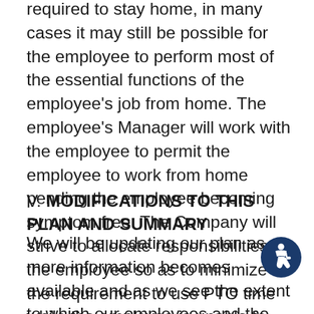required to stay home, in many cases it may still be possible for the employee to perform most of the essential functions of the employee's job from home. The employee's Manager will work with the employee to permit the employee to work from home pending the employee becoming symptom free. The Company will strive to allocate responsibilities to the employee so as to minimize the requirement to use PTO time while the employee is unable to work in the office.
V. MODIFICATIONS TO THIS PLAN AND SUMMARY
We will be updating our plan as more information becomes available and as we see the extent to which our employees and the communities wh...